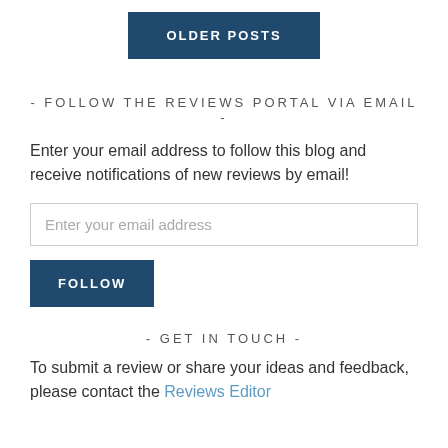[Figure (other): OLDER POSTS button — dark blue rectangular button with white bold uppercase text]
- FOLLOW THE REVIEWS PORTAL VIA EMAIL -
Enter your email address to follow this blog and receive notifications of new reviews by email!
[Figure (other): Email input field with placeholder text 'Enter your email address']
[Figure (other): FOLLOW button — dark blue rectangular button with white bold uppercase text]
- GET IN TOUCH -
To submit a review or share your ideas and feedback, please contact the Reviews Editor